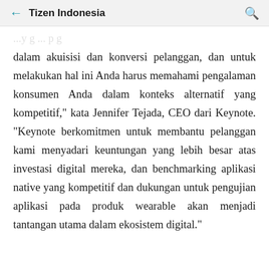Tizen Indonesia
dalam akuisisi dan konversi pelanggan, dan untuk melakukan hal ini Anda harus memahami pengalaman konsumen Anda dalam konteks alternatif yang kompetitif," kata Jennifer Tejada, CEO dari Keynote. "Keynote berkomitmen untuk membantu pelanggan kami menyadari keuntungan yang lebih besar atas investasi digital mereka, dan benchmarking aplikasi native yang kompetitif dan dukungan untuk pengujian aplikasi pada produk wearable akan menjadi tantangan utama dalam ekosistem digital."